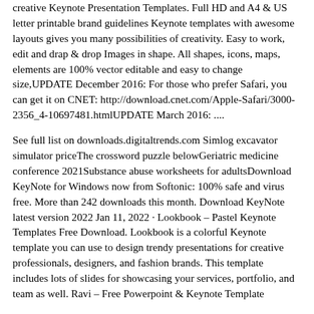creative Keynote Presentation Templates. Full HD and A4 & US letter printable brand guidelines Keynote templates with awesome layouts gives you many possibilities of creativity. Easy to work, edit and drap & drop Images in shape. All shapes, icons, maps, elements are 100% vector editable and easy to change size,UPDATE December 2016: For those who prefer Safari, you can get it on CNET: http://download.cnet.com/Apple-Safari/3000-2356_4-10697481.htmlUPDATE March 2016: ....
See full list on downloads.digitaltrends.com Simlog excavator simulator priceThe crossword puzzle belowGeriatric medicine conference 2021Substance abuse worksheets for adultsDownload KeyNote for Windows now from Softonic: 100% safe and virus free. More than 242 downloads this month. Download KeyNote latest version 2022 Jan 11, 2022 · Lookbook – Pastel Keynote Templates Free Download. Lookbook is a colorful Keynote template you can use to design trendy presentations for creative professionals, designers, and fashion brands. This template includes lots of slides for showcasing your services, portfolio, and team as well. Ravi – Free Powerpoint & Keynote Template
Mahindra tractor attachments
With Keynote, you have all the tools you need to make an amazing presentation quickly and easily. Collaborate with others at the same time. With real-time collaboration, your whole team can work on a presentation at the same time on a Mac, iPad, or iPhone.